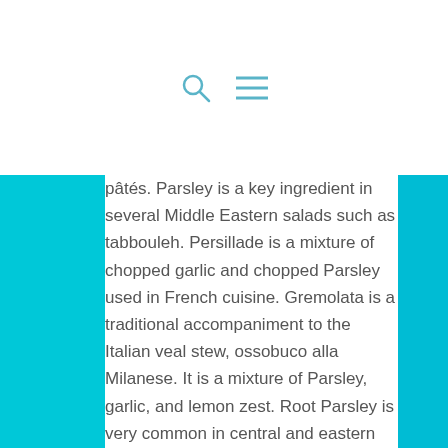[Figure (other): Search icon (magnifying glass) and hamburger menu icon in cyan/teal color]
pâtés. Parsley is a key ingredient in several Middle Eastern salads such as tabbouleh. Persillade is a mixture of chopped garlic and chopped Parsley used in French cuisine. Gremolata is a traditional accompaniment to the Italian veal stew, ossobuco alla Milanese. It is a mixture of Parsley, garlic, and lemon zest. Root Parsley is very common in central and eastern European cuisines, where it is used as a ingredient in many soups and in meat or vegetable stews and casseroles.